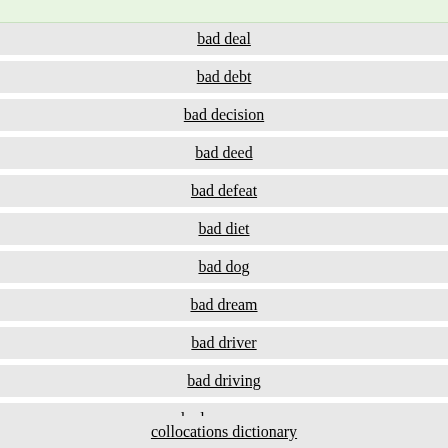[Figure (screenshot): Top green search bar area (partial)]
bad deal
bad debt
bad decision
bad deed
bad defeat
bad diet
bad dog
bad dream
bad driver
bad driving
bad economy
collocations dictionary